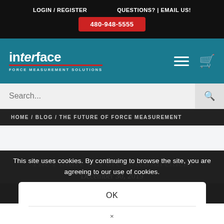LOGIN / REGISTER    QUESTIONS? | EMAIL US!
480-948-5555
[Figure (logo): Interface Force Measurement Solutions logo in white and red on teal background]
Search...
HOME / BLOG / THE FUTURE OF FORCE MEASUREMENT
The Future of Force Measurement
December 30, 2019
This site uses cookies. By continuing to browse the site, you are agreeing to our use of cookies.
OK
×